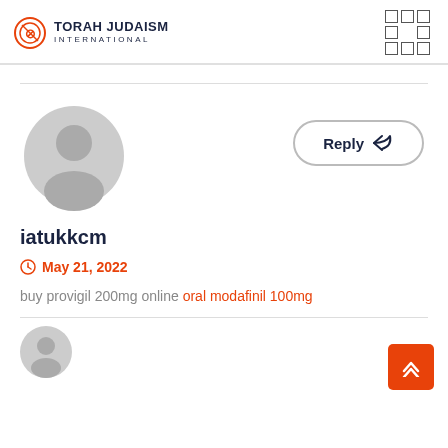TORAH JUDAISM INTERNATIONAL
[Figure (illustration): Gray default user avatar circle with person silhouette]
Reply
iatukkcm
May 21, 2022
buy provigil 200mg online oral modafinil 100mg